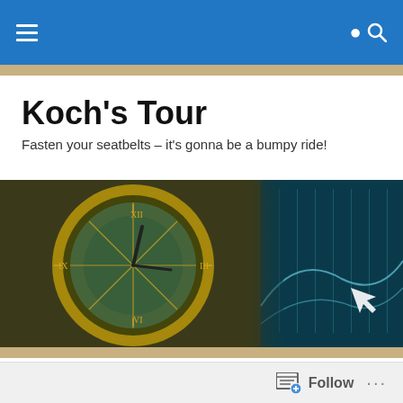Koch's Tour — navigation bar with hamburger menu and search icon
Koch's Tour
Fasten your seatbelts – it's gonna be a bumpy ride!
[Figure (photo): Banner image showing an astronomical clock on the left half and a teal/blue digital background with a cursor arrow on the right half]
“Don’t Be Cruel”
Heard this last night on “Magic City” – it’s from 1975, and is sung by Billy Swan.
Follow …